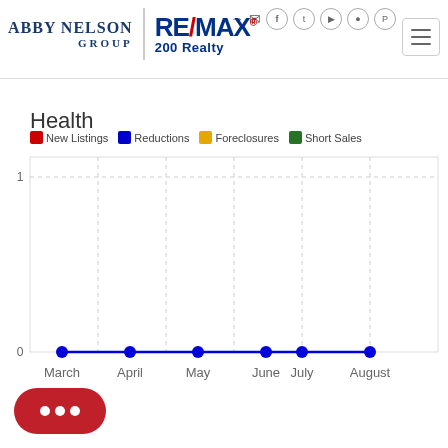Abby Nelson Group | RE/MAX 200 Realty
Health
[Figure (line-chart): Health]